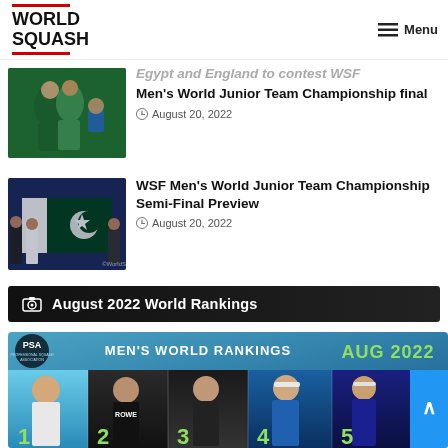[Figure (logo): World Squash logo with red lines above and below text]
Menu
Championship Final: Preview and How To Watch Live
[Figure (photo): Squash players hugging on court]
Egypt and England to contest WSF Men's World Junior Team Championship final
August 20, 2022
[Figure (photo): Team holding Pakistan flag on squash court]
WSF Men's World Junior Team Championship Semi-Final Preview
August 20, 2022
August 2022 World Rankings
[Figure (infographic): PSA Men's World Rankings AUG 2022 graphic showing top 5 ranked players with numbers 1-5]